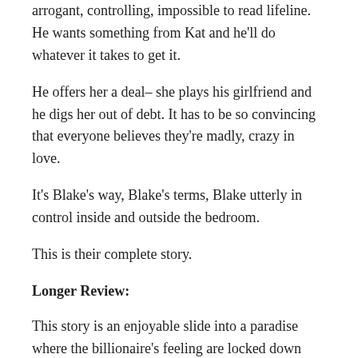arrogant, controlling, impossible to read lifeline. He wants something from Kat and he'll do whatever it takes to get it.
He offers her a deal– she plays his girlfriend and he digs her out of debt. It has to be so convincing that everyone believes they're madly, crazy in love.
It's Blake's way, Blake's terms, Blake utterly in control inside and outside the bedroom.
This is their complete story.
Longer Review:
This story is an enjoyable slide into a paradise where the billionaire's feeling are locked down tight and the heroine slips into a situation that she can't turn down.